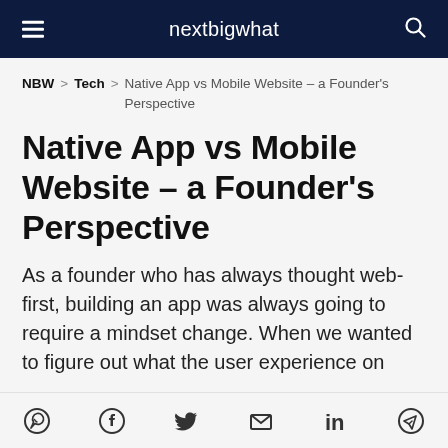nextbigwhat
NBW  >  Tech  >  Native App vs Mobile Website – a Founder's Perspective
Native App vs Mobile Website – a Founder's Perspective
As a founder who has always thought web-first, building an app was always going to require a mindset change. When we wanted to figure out what the user experience on
WhatsApp Facebook Twitter Email LinkedIn Telegram